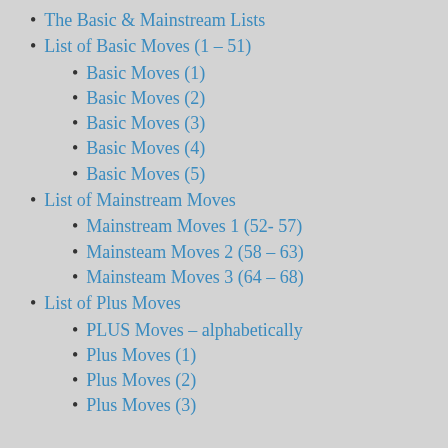The Basic & Mainstream Lists
List of Basic Moves (1 – 51)
Basic Moves (1)
Basic Moves (2)
Basic Moves (3)
Basic Moves (4)
Basic Moves (5)
List of Mainstream Moves
Mainstream Moves 1 (52- 57)
Mainsteam Moves 2 (58 – 63)
Mainsteam Moves 3 (64 – 68)
List of Plus Moves
PLUS Moves – alphabetically
Plus Moves (1)
Plus Moves (2)
Plus Moves (3)